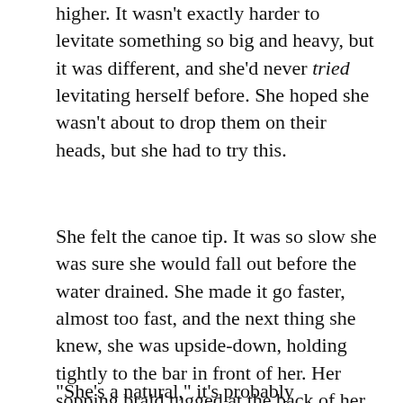higher.  It wasn't exactly harder to levitate something so big and heavy, but it was different, and she'd never tried levitating herself before.  She hoped she wasn't about to drop them on their heads, but she had to try this.
She felt the canoe tip.  It was so slow she was sure she would fall out before the water drained.  She made it go faster, almost too fast, and the next thing she knew, she was upside-down, holding tightly to the bar in front of her.  Her sopping braid tugged at the back of her head as it observed the usual features of gravity.  She thought she heard Kaveh laughing, but it was not a good time to lose her concentration.  She flipped the boat back over, and set it on the water with a slap and a deep thunk.  It bobbed up and down in the waves created by its landing.
"She's a natural," it's probably